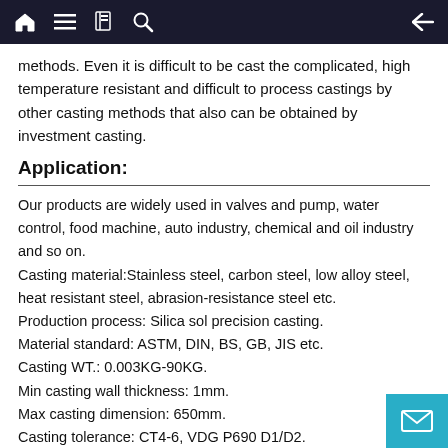Navigation bar with home, menu, book, search, and back icons
methods. Even it is difficult to be cast the complicated, high temperature resistant and difficult to process castings by other casting methods that also can be obtained by investment casting.
Application:
Our products are widely used in valves and pump, water control, food machine, auto industry, chemical and oil industry and so on.
Casting material:Stainless steel, carbon steel, low alloy steel, heat resistant steel, abrasion-resistance steel etc.
Production process: Silica sol precision casting.
Material standard: ASTM, DIN, BS, GB, JIS etc.
Casting WT.: 0.003KG-90KG.
Min casting wall thickness: 1mm.
Max casting dimension: 650mm.
Casting tolerance: CT4-6, VDG P690 D1/D2.
Exporting countries: The United States, Canada, Italy, Germany, Japan, Korea and other countries.
Brand: Customize.